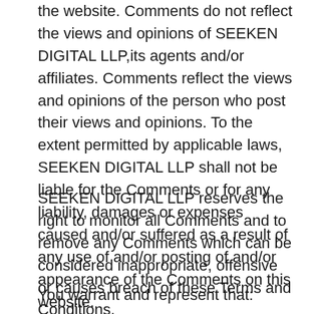the website. Comments do not reflect the views and opinions of SEEKEN DIGITAL LLP,its agents and/or affiliates. Comments reflect the views and opinions of the person who post their views and opinions. To the extent permitted by applicable laws, SEEKEN DIGITAL LLP shall not be liable for the Comments or for any liability, damages or expenses caused and/or suffered as a result of any use of and/or posting of and/or appearance of the Comments on this website.
SEEKEN DIGITAL LLP reserves the right to monitor all Comments and to remove any Comments which can be considered inappropriate, offensive or causes breach of these Terms and Conditions.
You warrant and represent that: